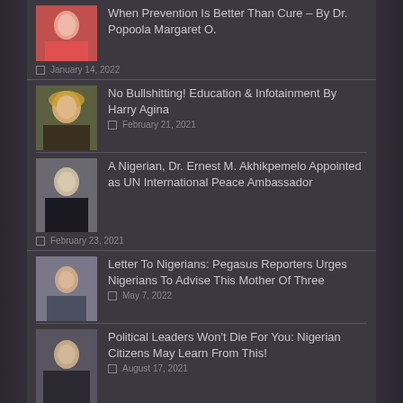[Figure (photo): Thumbnail photo of Dr. Popoola Margaret O.]
When Prevention Is Better Than Cure – By Dr. Popoola Margaret O.
January 14, 2022
[Figure (photo): Thumbnail photo of Harry Agina wearing a cowboy hat]
No Bullshitting! Education & Infotainment By Harry Agina
February 21, 2021
[Figure (photo): Thumbnail photo of Dr. Ernest M. Akhikpemelo in a suit]
A Nigerian, Dr. Ernest M. Akhikpemelo Appointed as UN International Peace Ambassador
February 23, 2021
[Figure (photo): Thumbnail photo of a woman looking to the side]
Letter To Nigerians: Pegasus Reporters Urges Nigerians To Advise This Mother Of Three
May 7, 2022
[Figure (photo): Thumbnail photo of a person in a dark jacket]
Political Leaders Won't Die For You: Nigerian Citizens May Learn From This!
August 17, 2021